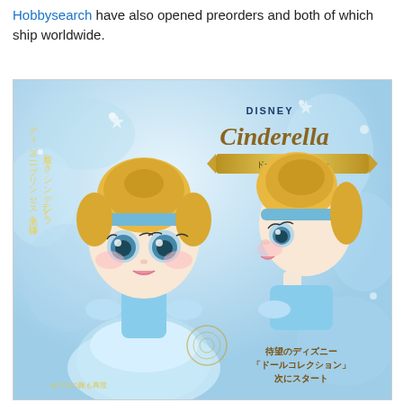Hobbysearch have also opened preorders and both of which ship worldwide.
[Figure (photo): Disney Cinderella doll collection promotional image showing two chibi-style Cinderella dolls — one front-facing in a blue ballgown and one in side profile — against a light blue crystalline background with Japanese text and gold branding. Text reads: Disney Cinderella, ドールコレクション (Doll Collection), 待望のディズニー「ドールコレクション」次にスタート, ガラスの靴も再現.]